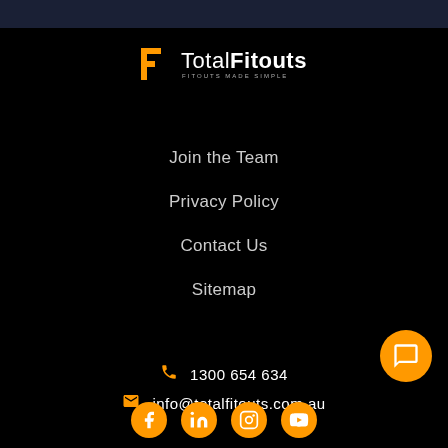[Figure (logo): Total Fitouts logo with orange bracket icon, white text 'Total' and bold 'Fitouts', tagline 'FITOUTS MADE SIMPLE']
Join the Team
Privacy Policy
Contact Us
Sitemap
1300 654 634
info@totalfitouts.com.au
[Figure (illustration): Orange circular chat/message button in bottom right corner]
[Figure (illustration): Row of orange circular social media icons (Facebook, LinkedIn, Instagram, YouTube) at bottom]